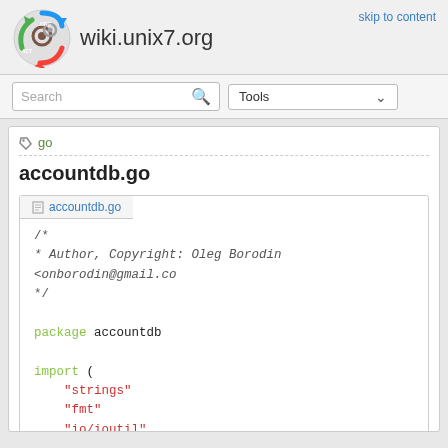wiki.unix7.org  skip to content
Search  Tools
go
accountdb.go
accountdb.go
/*
 * Author, Copyright: Oleg Borodin <onborodin@gmail.co
 */

package accountdb

import (
    "strings"
    "fmt"
    "io/ioutil"